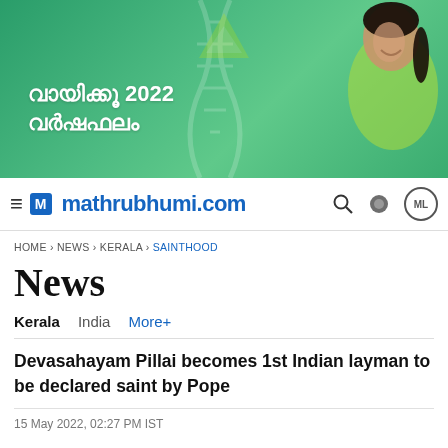[Figure (photo): Advertisement banner with Malayalam text reading 'വായിക്കൂ 2022 വർഷഫലം' (Read 2022 Horoscope) featuring a woman in a green saree on a green background with DNA helix decoration]
mathrubhumi.com
HOME › NEWS › KERALA › SAINTHOOD
News
Kerala  India  More+
Devasahayam Pillai becomes 1st Indian layman to be declared saint by Pope
15 May 2022, 02:27 PM IST